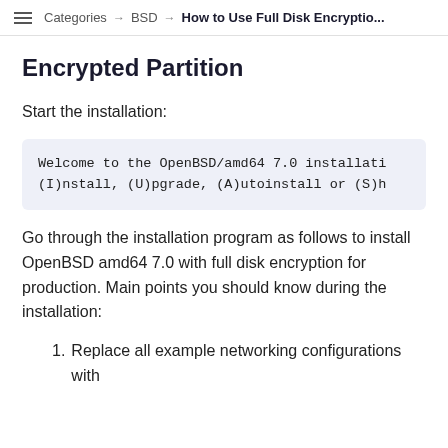Categories → BSD → How to Use Full Disk Encryptio...
Encrypted Partition
Start the installation:
Welcome to the OpenBSD/amd64 7.0 installati
(I)nstall, (U)pgrade, (A)utoinstall or (S)h
Go through the installation program as follows to install OpenBSD amd64 7.0 with full disk encryption for production. Main points you should know during the installation:
1. Replace all example networking configurations with